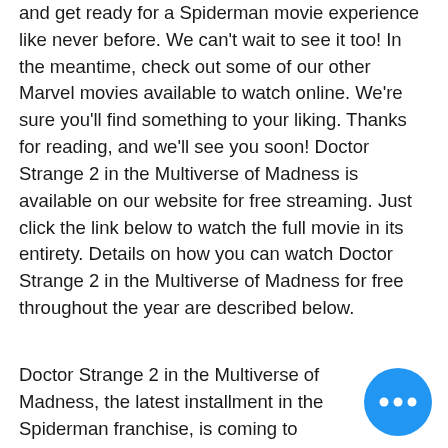and get ready for a Spiderman movie experience like never before. We can't wait to see it too! In the meantime, check out some of our other Marvel movies available to watch online. We're sure you'll find something to your liking. Thanks for reading, and we'll see you soon! Doctor Strange 2 in the Multiverse of Madness is available on our website for free streaming. Just click the link below to watch the full movie in its entirety. Details on how you can watch Doctor Strange 2 in the Multiverse of Madness for free throughout the year are described below.
Doctor Strange 2 in the Multiverse of Madness, the latest installment in the Spiderman franchise, is coming to Disney+